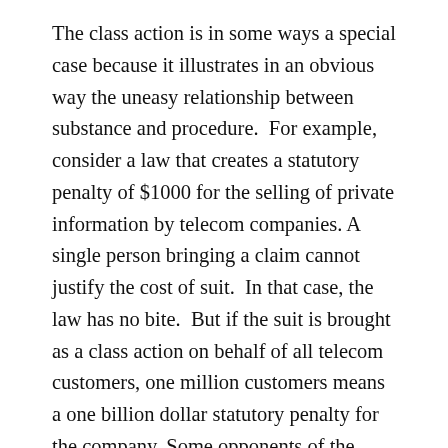The class action is in some ways a special case because it illustrates in an obvious way the uneasy relationship between substance and procedure.  For example, consider a law that creates a statutory penalty of $1000 for the selling of private information by telecom companies. A single person bringing a claim cannot justify the cost of suit.  In that case, the law has no bite.  But if the suit is brought as a class action on behalf of all telecom customers, one million customers means a one billion dollar statutory penalty for the company. Some opponents of the class action argue that class actions violate due process because it can lead to the distortion of individual claims.  Others argue that class actions are a form of "blackmail" for this reason - even if the claims are weak, the risk of loss is too high and requires settlement. Even those that think class actions are a good idea